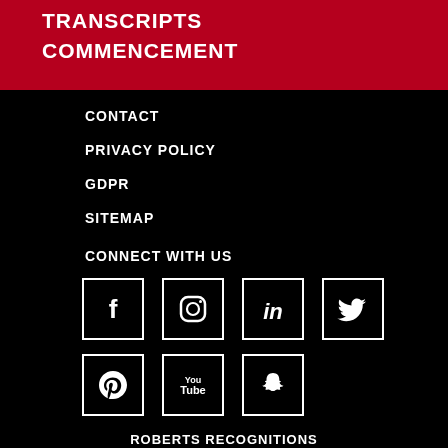TRANSCRIPTS
COMMENCEMENT
CONTACT
PRIVACY POLICY
GDPR
SITEMAP
CONNECT WITH US
[Figure (other): Social media icons: Facebook, Instagram, LinkedIn, Twitter, Pinterest, YouTube, Snapchat]
ROBERTS RECOGNITIONS